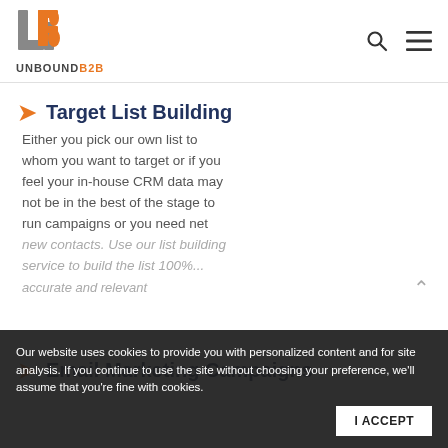[Figure (logo): UnboundB2B logo with stylized UB icon and text UNBOUND B2B]
Target List Building
Either you pick our own list to whom you want to target or if you feel your in-house CRM data may not be in the best of the stage to run campaigns or you need net new contacts. Use our list building service to build the list 100%...
accurate and relevant
Our website uses cookies to provide you with personalized content and for site analysis. If you continue to use the site without choosing your preference, we'll assume that you're fine with cookies.
Email Marketing Campaigns